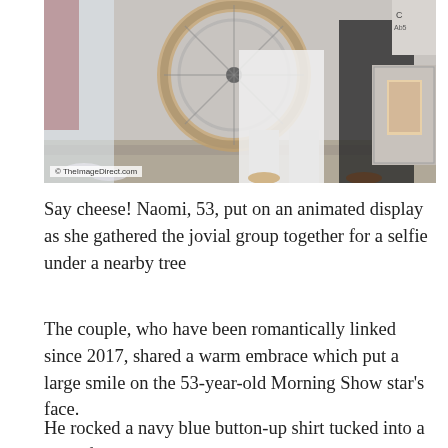[Figure (photo): Street photo showing people from waist down near a bicycle, one person in white clothing, another in black, with a utility box and red wall visible. Photo credit: © TheImageDirect.com]
Say cheese! Naomi, 53, put on an animated display as she gathered the jovial group together for a selfie under a nearby tree
The couple, who have been romantically linked since 2017, shared a warm embrace which put a large smile on the 53-year-old Morning Show star's face.
He rocked a navy blue button-up shirt tucked into a pair of belted dark denim jeans.
54-year-old his long-term girlfriend Taylor Naomi...